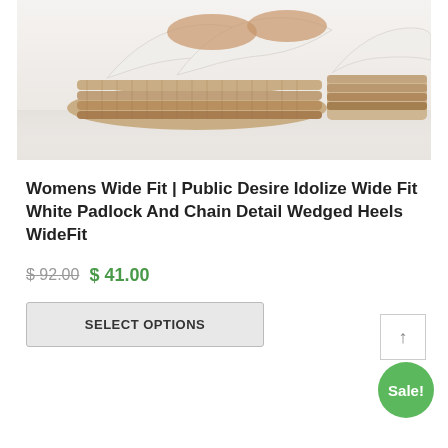[Figure (photo): White platform wedge sandals with cross straps and rope/jute wedge sole on a light reflective surface]
Womens Wide Fit | Public Desire Idolize Wide Fit White Padlock And Chain Detail Wedged Heels WideFit
$ 92.00 $ 41.00
SELECT OPTIONS
Sale!